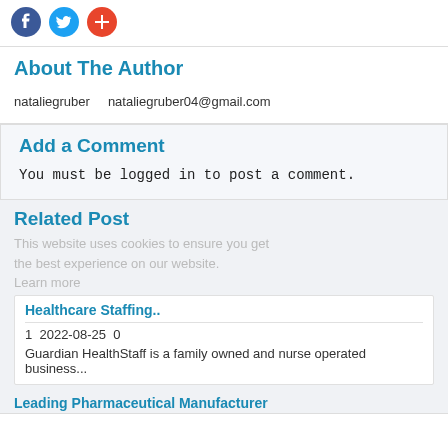[Figure (other): Social sharing icons: Facebook (blue), Twitter (blue), and a red plus/share button]
About The Author
nataliegruber    nataliegruber04@gmail.com
Add a Comment
You must be logged in to post a comment.
Related Post
This website uses cookies to ensure you get the best experience on our website. Learn more
Healthcare Staffing..
1  2022-08-25  0
Guardian HealthStaff is a family owned and nurse operated business...
Leading Pharmaceutical Manufacturer